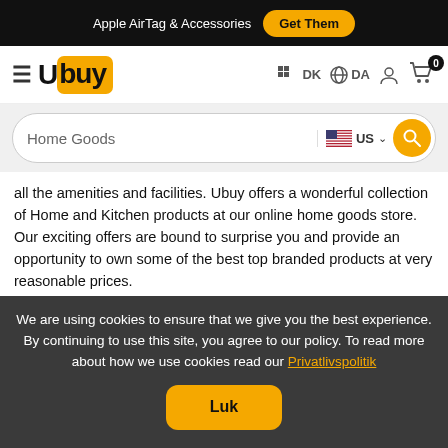Apple AirTag & Accessories  Get Them
[Figure (logo): Ubuy logo with hamburger menu and navigation icons for DK, DA, user account, and cart with 0 items]
[Figure (screenshot): Search bar with 'Home Goods' text, US flag selector, and orange search button]
all the amenities and facilities. Ubuy offers a wonderful collection of Home and Kitchen products at our online home goods store. Our exciting offers are bound to surprise you and provide an opportunity to own some of the best top branded products at very reasonable prices.
Our product categories include home decor, bathroom fixtures, kitchen & dining products, outdoor & garden products, bedroom supplies, etc. Home shopping online helps you to decorate your home and also buy the essential
We are using cookies to ensure that we give you the best experience. By continuing to use this site, you agree to our policy. To read more about how we use cookies read our Privatlivspolitik
Luk